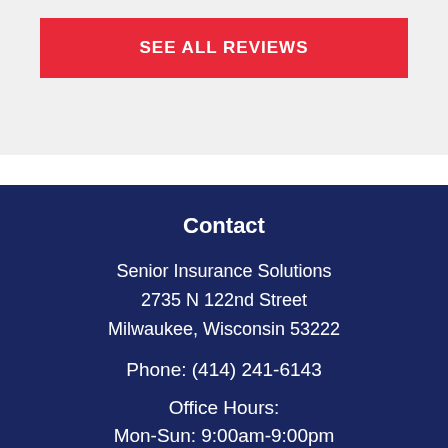SEE ALL REVIEWS
Contact
Senior Insurance Solutions
2735 N 122nd Street
Milwaukee, Wisconsin 53222
Phone: (414) 241-6143
Office Hours:
Mon-Sun: 9:00am-9:00pm